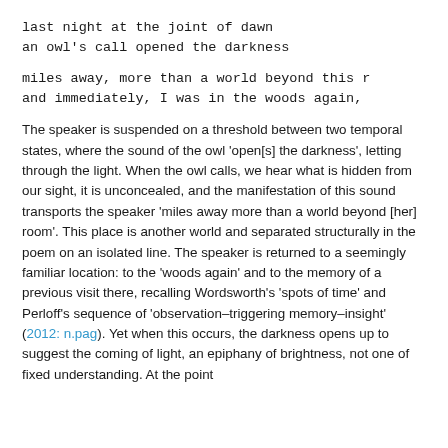last night at the joint of dawn
an owl's call opened the darkness

miles away, more than a world beyond this r
and immediately, I was in the woods again,
The speaker is suspended on a threshold between two temporal states, where the sound of the owl 'open[s] the darkness', letting through the light. When the owl calls, we hear what is hidden from our sight, it is unconcealed, and the manifestation of this sound transports the speaker 'miles away more than a world beyond [her] room'. This place is another world and separated structurally in the poem on an isolated line. The speaker is returned to a seemingly familiar location: to the 'woods again' and to the memory of a previous visit there, recalling Wordsworth's 'spots of time' and Perloff's sequence of 'observation–triggering memory–insight' (2012: n.pag). Yet when this occurs, the darkness opens up to suggest the coming of light, an epiphany of brightness, not one of fixed understanding. At the point